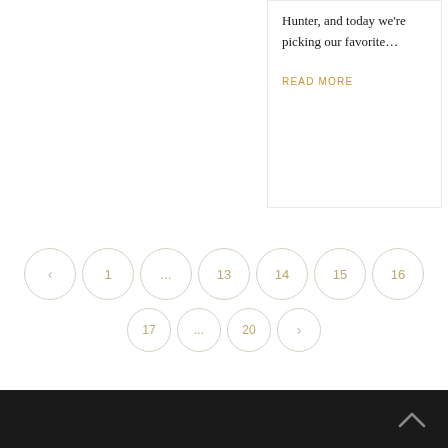Hunter, and today we're picking our favorite…
READ MORE
‹  1  ...  13  14  15  16  17  ...  20  ›